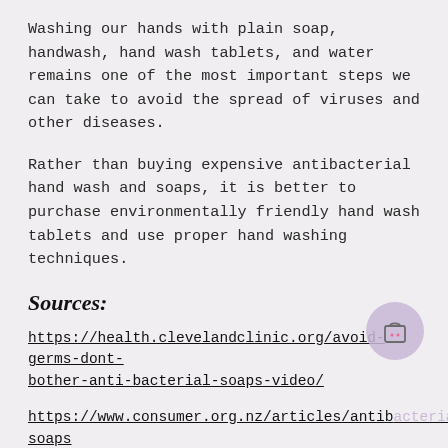Washing our hands with plain soap, handwash, hand wash tablets, and water remains one of the most important steps we can take to avoid the spread of viruses and other diseases.
Rather than buying expensive antibacterial hand wash and soaps, it is better to purchase environmentally friendly hand wash tablets and use proper hand washing techniques.
Sources:
https://health.clevelandclinic.org/avoid-germs-dont-bother-anti-bacterial-soaps-video/
https://www.consumer.org.nz/articles/antibacterial-soaps
https://dermnetnz.org/topics/antibacterial-soap